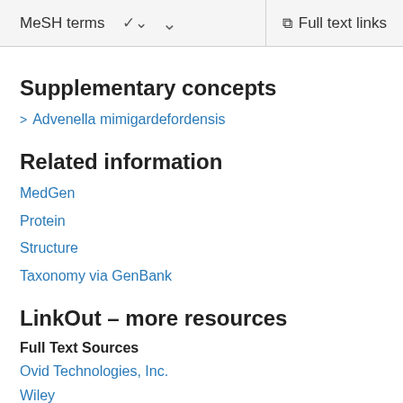MeSH terms  ∨    Full text links
Supplementary concepts
> Advenella mimigardefordensis
Related information
MedGen
Protein
Structure
Taxonomy via GenBank
LinkOut – more resources
Full Text Sources
Ovid Technologies, Inc.
Wiley